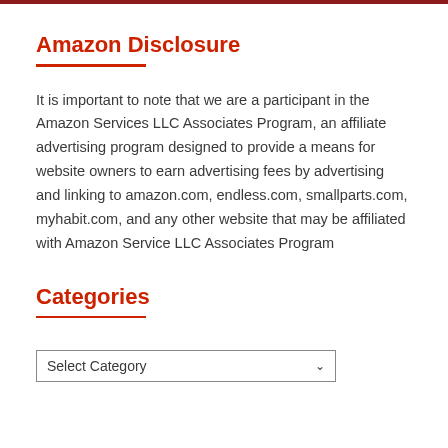Amazon Disclosure
It is important to note that we are a participant in the Amazon Services LLC Associates Program, an affiliate advertising program designed to provide a means for website owners to earn advertising fees by advertising and linking to amazon.com, endless.com, smallparts.com, myhabit.com, and any other website that may be affiliated with Amazon Service LLC Associates Program
Categories
Select Category